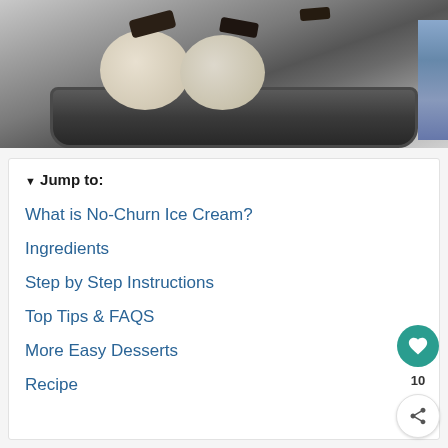[Figure (photo): Photo of no-churn ice cream scoops with dark cookie pieces in a dark metal pan, with a blue cloth visible on the right edge.]
▼ Jump to:
What is No-Churn Ice Cream?
Ingredients
Step by Step Instructions
Top Tips & FAQS
More Easy Desserts
Recipe